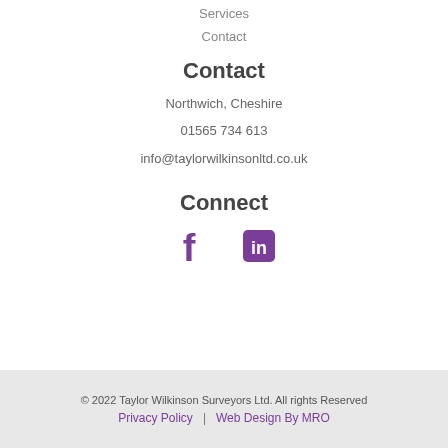Services
Contact
Contact
Northwich, Cheshire
01565 734 613
info@taylorwilkinsonltd.co.uk
Connect
[Figure (infographic): Facebook and LinkedIn social media icons in purple]
© 2022 Taylor Wilkinson Surveyors Ltd. All rights Reserved
Privacy Policy | Web Design By MRO